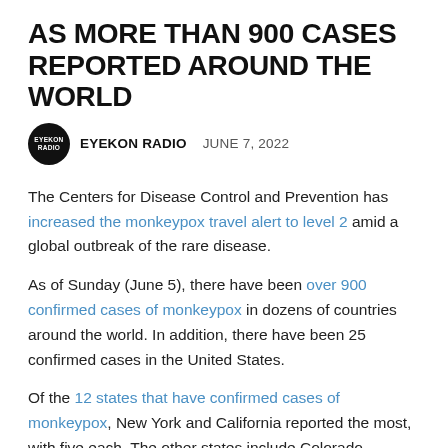AS MORE THAN 900 CASES REPORTED AROUND THE WORLD
EYEKON RADIO   JUNE 7, 2022
The Centers for Disease Control and Prevention has increased the monkeypox travel alert to level 2 amid a global outbreak of the rare disease.
As of Sunday (June 5), there have been over 900 confirmed cases of monkeypox in dozens of countries around the world. In addition, there have been 25 confirmed cases in the United States.
Of the 12 states that have confirmed cases of monkeypox, New York and California reported the most, with five each. The other states include Colorado, Florida, Georgia, Hawaii,